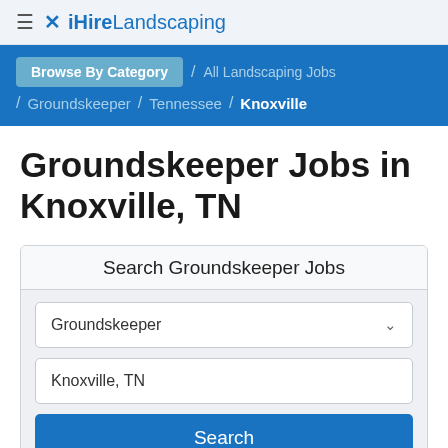≡ ✕ iHireLandscaping
Browse By Category / All Landscaping Jobs / Groundskeeper / Tennessee / Knoxville
Groundskeeper Jobs in Knoxville, TN
Search Groundskeeper Jobs
Groundskeeper [dropdown]
Knoxville, TN
Search